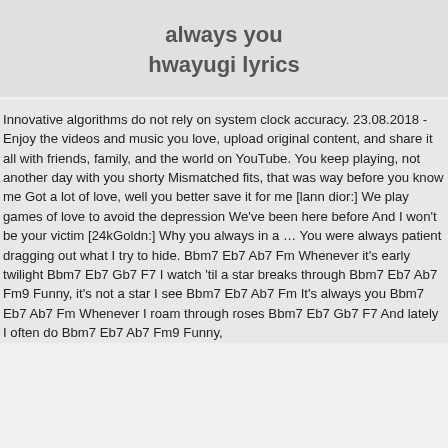always you hwayugi lyrics
Innovative algorithms do not rely on system clock accuracy. 23.08.2018 - Enjoy the videos and music you love, upload original content, and share it all with friends, family, and the world on YouTube. You keep playing, not another day with you shorty Mismatched fits, that was way before you know me Got a lot of love, well you better save it for me [lann dior:] We play games of love to avoid the depression We've been here before And I won't be your victim [24kGoldn:] Why you always in a … You were always patient dragging out what I try to hide. Bbm7 Eb7 Ab7 Fm Whenever it's early twilight Bbm7 Eb7 Gb7 F7 I watch 'til a star breaks through Bbm7 Eb7 Ab7 Fm9 Funny, it's not a star I see Bbm7 Eb7 Ab7 Fm It's always you Bbm7 Eb7 Ab7 Fm Whenever I roam through roses Bbm7 Eb7 Gb7 F7 And lately I often do Bbm7 Eb7 Ab7 Fm9 Funny, it's always a rose I see Bbm7 Eb7 Ab7 Fm9 Funny,